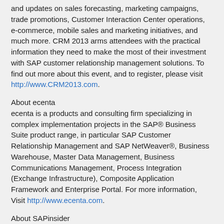and updates on sales forecasting, marketing campaigns, trade promotions, Customer Interaction Center operations, e-commerce, mobile sales and marketing initiatives, and much more. CRM 2013 arms attendees with the practical information they need to make the most of their investment with SAP customer relationship management solutions. To find out more about this event, and to register, please visit http://www.CRM2013.com.
About ecenta
ecenta is a products and consulting firm specializing in complex implementation projects in the SAP® Business Suite product range, in particular SAP Customer Relationship Management and SAP NetWeaver®, Business Warehouse, Master Data Management, Business Communications Management, Process Integration (Exchange Infrastructure), Composite Application Framework and Enterprise Portal. For more information, Visit http://www.ecenta.com.
About SAPinsider
SAPinsider, published by WIS Publishing, is the premier source of information on products, services, and strategic initiatives coming from SAP and its partners. More than 250,000 customers in 61 countries rely annually on education and training materials from WIS Publishing to optimize their